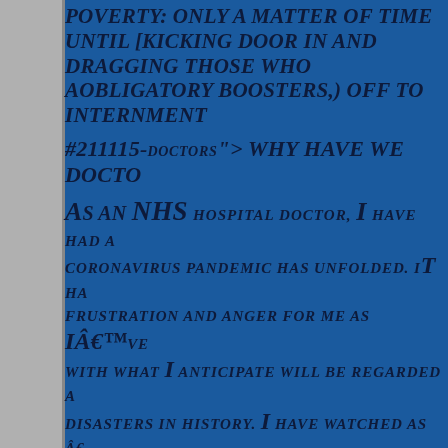POVERTY: ONLY A MATTER OF TIME UNTIL [someone is] KICKING DOOR IN AND DRAGGING THOSE WHO A[ren't taking their] OBLIGATORY BOOSTERS,) OFF TO INTERNMENT [camps]
#211115-DOCTORS"> WHY HAVE WE DOCTO[rs...]
AS AN NHS HOSPITAL DOCTOR, I HAVE HAD A[ringside seat as the] CORONAVIRUS PANDEMIC HAS UNFOLDED. IT HA[s been a time of] FRUSTRATION AND ANGER FOR ME AS I'VE [been confronted] WITH WHAT I ANTICIPATE WILL BE REGARDED A[s one of the greatest] DISASTERS IN HISTORY. I HAVE WATCHED AS â€[a leader took the] NATIONAL STAGE FLANKED BY UNION JACK FL[ags...and] APPARENTLY INVIOLABLE, IT SEEMS TO SHIFT A[t every turn]
...
JULIAN ASSANGE LOSES APPEAL: BRITISH H[igh Court Clears Extradition of] HIM FOR TRIAL